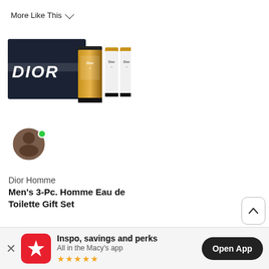More Like This ∨
More Like This ∨
[Figure (photo): Dior Homme fragrance gift set showing dark navy blue box with DIOR branding, a bottle of Dior Homme eau de toilette, and two white tubes]
[Figure (photo): COACH men's gift set showing navy Coach box, black Coach pouch/toiletry bag, cologne bottle, and small tube]
Dior Homme
Men's 3-Pc. Homme Eau de Toilette Gift Set
COACH
Men's 3-Pc. COACH F Men Gift Set
Inspo, savings and perks
All in the Macy's app
Open App